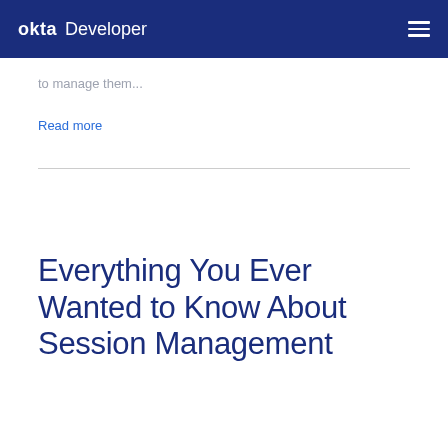okta Developer
to manage them...
Read more
Everything You Ever Wanted to Know About Session Management